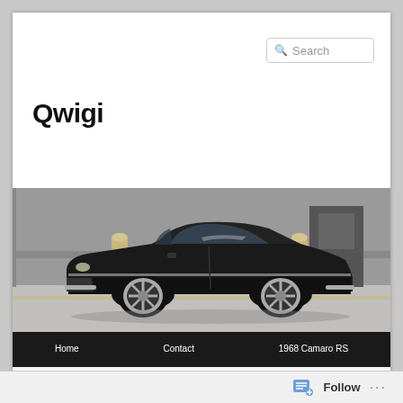Qwigi
[Figure (photo): Black 1968 Camaro RS muscle car parked in a lot, side profile view, with concrete bollards in background]
Home
Contact
1968 Camaro RS
All the cars I've had
Cars
Properties For Sale
Previous   Next
Follow ...